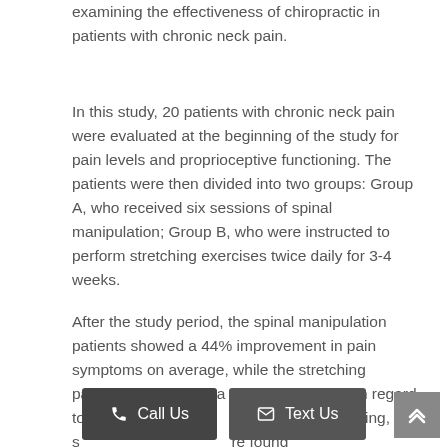examining the effectiveness of chiropractic in patients with chronic neck pain.
In this study, 20 patients with chronic neck pain were evaluated at the beginning of the study for pain levels and proprioceptive functioning. The patients were then divided into two groups: Group A, who received six sessions of spinal manipulation; Group B, who were instructed to perform stretching exercises twice daily for 3-4 weeks.
After the study period, the spinal manipulation patients showed a 44% improvement in pain symptoms on average, while the stretching patients showed just a 9% improvement. In regard to proprioceptive functioning, spinal manipulation were found...